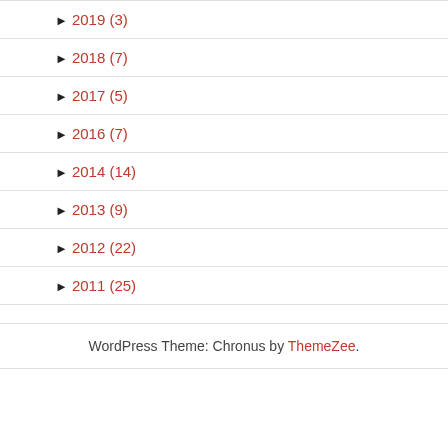► 2019 (3)
► 2018 (7)
► 2017 (5)
► 2016 (7)
► 2014 (14)
► 2013 (9)
► 2012 (22)
► 2011 (25)
WordPress Theme: Chronus by ThemeZee.